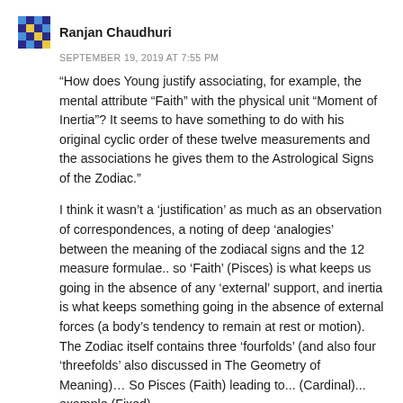Ranjan Chaudhuri
SEPTEMBER 19, 2019 AT 7:55 PM
“How does Young justify associating, for example, the mental attribute “Faith” with the physical unit “Moment of Inertia”? It seems to have something to do with his original cyclic order of these twelve measurements and the associations he gives them to the Astrological Signs of the Zodiac.”
I think it wasn’t a ‘justification’ as much as an observation of correspondences, a noting of deep ‘analogies’ between the meaning of the zodiacal signs and the 12 measure formulae.. so ‘Faith’ (Pisces) is what keeps us going in the absence of any ‘external’ support, and inertia is what keeps something going in the absence of external forces (a body’s tendency to remain at rest or motion). The Zodiac itself contains three ‘fourfolds’ (and also four ‘threefolds’ also discussed in The Geometry of Meaning)… So Pisces (Faith) leading to... (Cardinal)... example (Fixed)